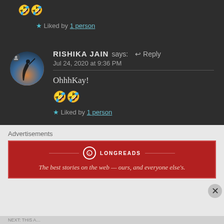🤣🤣
★ Liked by 1 person
RISHIKA JAIN says: ↩ Reply
Jul 24, 2020 at 9:36 PM
OhhhKay!
🤣🤣
★ Liked by 1 person
Advertisements
[Figure (screenshot): Longreads advertisement banner with red background. Logo with circle icon, brand name LONGREADS, and tagline: The best stories on the web — ours, and everyone else's.]
NEXT: THIS A…